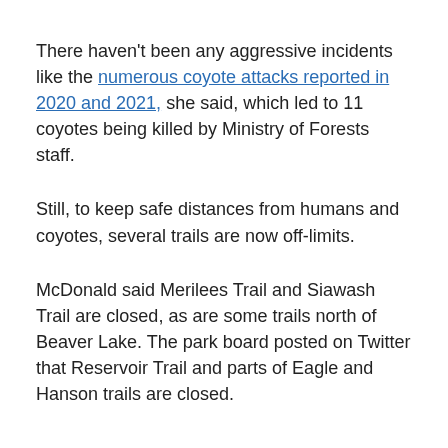There haven't been any aggressive incidents like the numerous coyote attacks reported in 2020 and 2021, she said, which led to 11 coyotes being killed by Ministry of Forests staff.
Still, to keep safe distances from humans and coyotes, several trails are now off-limits.
McDonald said Merilees Trail and Siawash Trail are closed, as are some trails north of Beaver Lake. The park board posted on Twitter that Reservoir Trail and parts of Eagle and Hanson trails are closed.